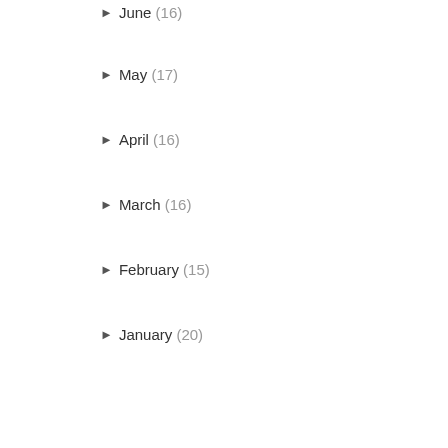► June (16)
► May (17)
► April (16)
► March (16)
► February (15)
► January (20)
► 2011 (238)
► 2010 (246)
► 2009 (277)
► 2008 (198)
I BLOG ABOUT...
AMIGURUMI
APRONS
AUSTRALIA
BEANIES
BIG WEEKEND AWAY
BLOGGERS
BOO
BROOCH
BUNTING
CD'S